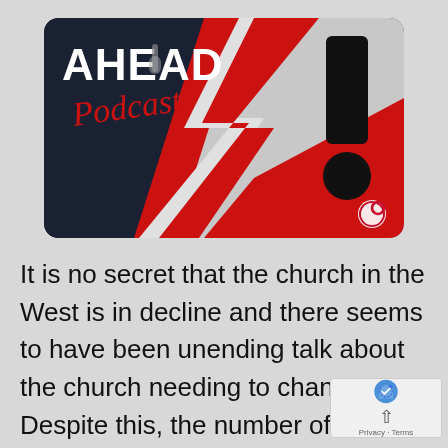[Figure (logo): AHEAD Podcast logo card with dark navy background on left, red and white lightning bolt shape in center, large black exclamation mark on gray right side, and a red strip at bottom right with a white spiral logo. White bold text 'AHEAD' at top left, red script 'Podcast' below it.]
It is no secret that the church in the West is in decline and there seems to have been unending talk about the church needing to change. Despite this, the number of sustainable alternative or even smaller changes to what most